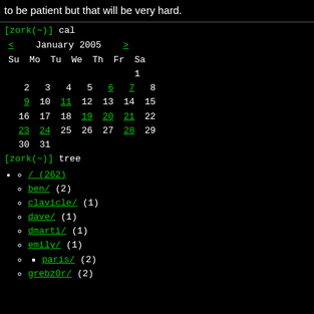to be patient but that will be very hard.
[zork(~)] cal
< January 2005 >
| Su | Mo | Tu | We | Th | Fr | Sa |
| --- | --- | --- | --- | --- | --- | --- |
|  |  |  |  |  |  | 1 |
| 2 | 3 | 4 | 5 | 6 | 7 | 8 |
| 9 | 10 | 11 | 12 | 13 | 14 | 15 |
| 16 | 17 | 18 | 19 | 20 | 21 | 22 |
| 23 | 24 | 25 | 26 | 27 | 28 | 29 |
| 30 | 31 |  |  |  |  |  |
[zork(~)] tree
/ (262)
ben/ (2)
clavicle/ (1)
dave/ (1)
dmarti/ (1)
emily/ (1)
paris/ (2)
grebz0r/ (2)